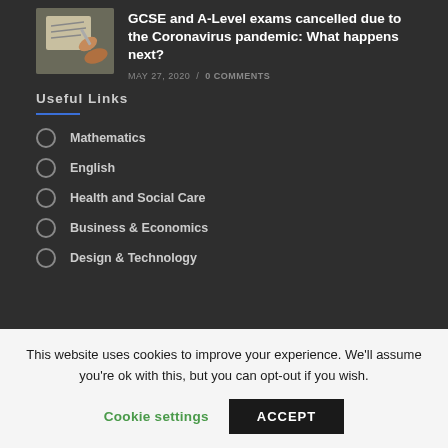[Figure (photo): Thumbnail image of a hand writing on paper with a pen]
GCSE and A-Level exams cancelled due to the Coronavirus pandemic: What happens next?
MAY 27, 2020 / 0 COMMENTS
Useful Links
Mathematics
English
Health and Social Care
Business & Economics
Design & Technology
This website uses cookies to improve your experience. We'll assume you're ok with this, but you can opt-out if you wish.
Cookie settings   ACCEPT